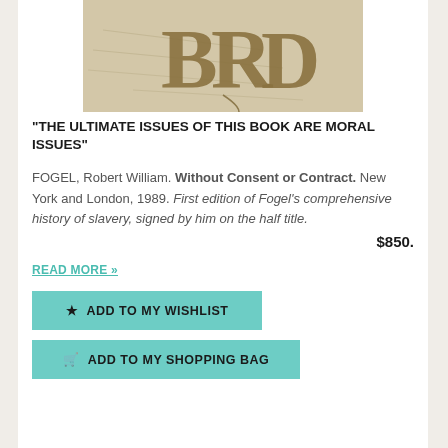[Figure (illustration): Book cover image showing ornate BRD monogram letters in brown/gold on a parchment background with faint handwriting]
“THE ULTIMATE ISSUES OF THIS BOOK ARE MORAL ISSUES”
FOGEL, Robert William. Without Consent or Contract. New York and London, 1989. First edition of Fogel’s comprehensive history of slavery, signed by him on the half title. $850.
READ MORE »
★ ADD TO MY WISHLIST
🛒 ADD TO MY SHOPPING BAG